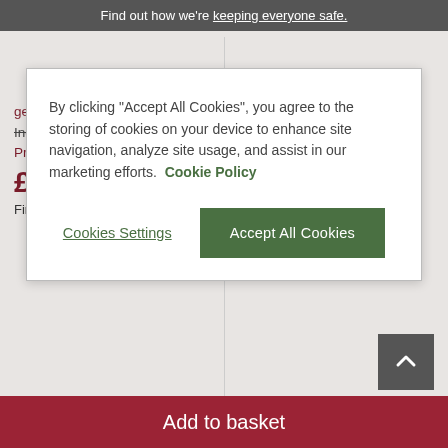Find out how we're keeping everyone safe.
By clicking "Accept All Cookies", you agree to the storing of cookies on your device to enhance site navigation, analyze site usage, and assist in our marketing efforts. Cookie Policy
Cookies Settings
Accept All Cookies
get HALF PRICE* chairs
Individually: £1,369.99
Price after half price* chair offer:
£989.99
Finance from £25 p/m*
£324.99
Finance from £8 p/m*
Minimum basket spend of £500
Add to basket